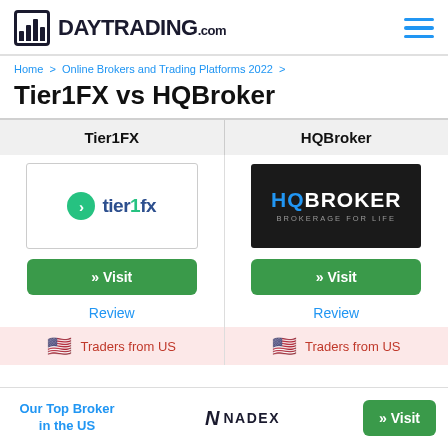DAYTRADING.com
Home > Online Brokers and Trading Platforms 2022 >
Tier1FX vs HQBroker
| Tier1FX | HQBroker |
| --- | --- |
| [Tier1FX logo] | [HQBroker logo] |
| » Visit | » Visit |
| Review | Review |
| 🇺🇸 Traders from US | 🇺🇸 Traders from US |
Our Top Broker in the US
[Figure (logo): NADEX logo]
» Visit